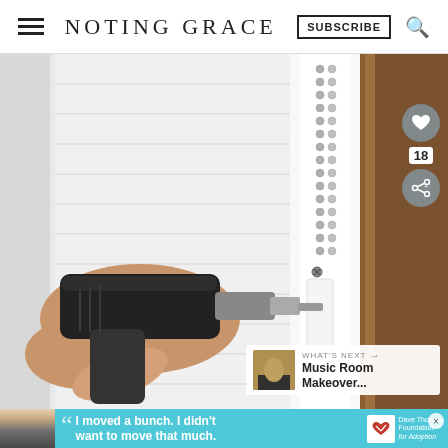NOTING GRACE  SUBSCRIBE
[Figure (photo): Close-up photo of a hand using a power drill to install a window blind bracket on a white wall. A bead chain hangs from the blind mechanism. Dark wood door frame visible on right side.]
WHAT'S NEXT → Music Room Makeover...
[Figure (photo): Advertisement banner. Teenage boy photo on left with teal background. Quote: I moved a bunch. I didn't want to move that much. Dave Thomas Foundation for Adoption logo.]